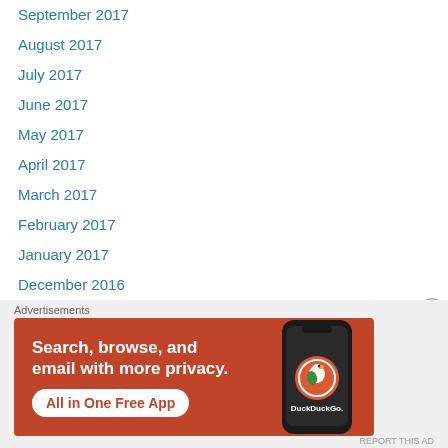September 2017
August 2017
July 2017
June 2017
May 2017
April 2017
March 2017
February 2017
January 2017
December 2016
November 2016
October 2016
September 2016
August 2016
Advertisements
[Figure (infographic): DuckDuckGo advertisement banner: orange background with white text 'Search, browse, and email with more privacy.' and button 'All in One Free App', with a phone showing the DuckDuckGo logo on the right.]